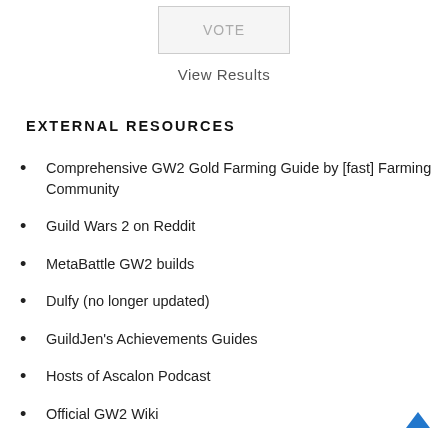[Figure (other): VOTE button — a rectangular button with light gray background and border, text 'VOTE' in muted gray letters]
View Results
EXTERNAL RESOURCES
Comprehensive GW2 Gold Farming Guide by [fast] Farming Community
Guild Wars 2 on Reddit
MetaBattle GW2 builds
Dulfy (no longer updated)
GuildJen's Achievements Guides
Hosts of Ascalon Podcast
Official GW2 Wiki